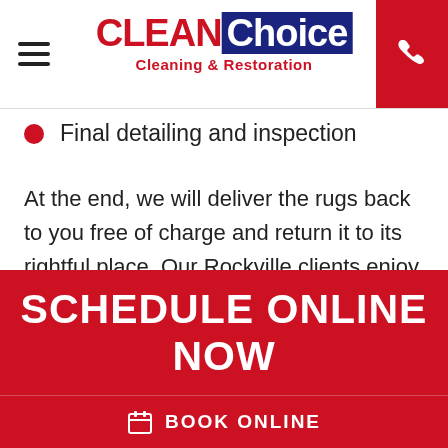CLEAN Choice Cleaning & Restoration
Final detailing and inspection
At the end, we will deliver the rugs back to you free of charge and return it to its rightful place. Our Rockville clients enjoy first-rate service from our friendly, professional staff.
SCHEDULE ONLINE NOW
BOOK ONLINE